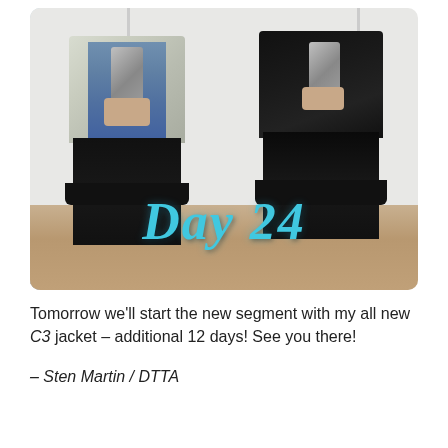[Figure (photo): Side-by-side mirror selfie photos of a person on Day 24. Left photo shows person wearing a light denim jacket over a blue shirt and black pants. Right photo shows same person wearing all black (t-shirt and pants). Text overlay reads 'Day 24' in cyan cursive script.]
Tomorrow we'll start the new segment with my all new C3 jacket – additional 12 days! See you there!
– Sten Martin / DTTA